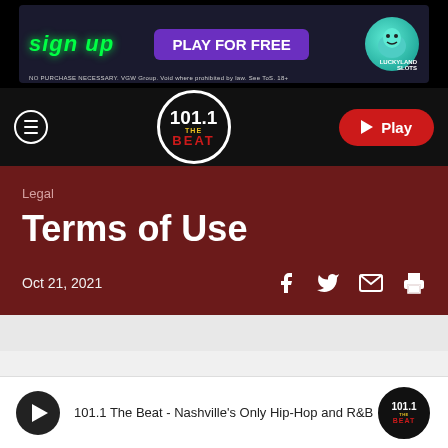[Figure (screenshot): LuckyLand Slots advertisement banner: 'SIGN UP PLAY FOR FREE' with cartoon dinosaur, text 'NO PURCHASE NECESSARY. VGW Group. Void where prohibited by law. See ToS. 18+']
101.1 THE BEAT navigation bar with hamburger menu, logo, and Play button
Legal
Terms of Use
Oct 21, 2021
[Figure (other): Social share icons: Facebook, Twitter, Email, Print]
101.1 The Beat - Nashville's Only Hip-Hop and R&B